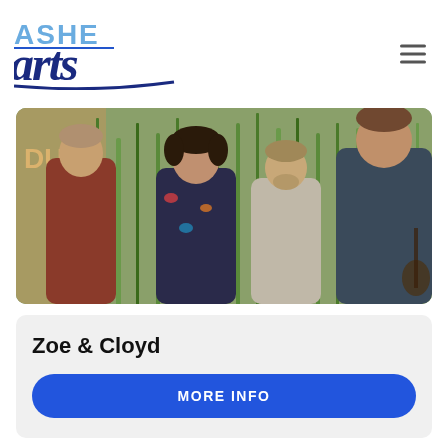[Figure (logo): Ashe County Arts Council logo with stylized 'Arts' script and 'ASHE COUNTY ARTS COUNCIL' tagline in light blue]
[Figure (photo): Band photo of Zoe & Cloyd — four musicians standing among tall green reeds/cattails outdoors. Woman in floral dress center-left, man in red/dark patterned shirt far left, man in light shirt center-back, man in dark button-up shirt right foreground.]
Zoe & Cloyd
MORE INFO